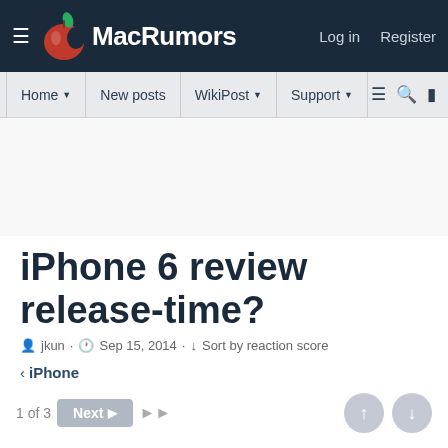MacRumors — Log in | Register
Home | New posts | WikiPost | Support
iPhone 6 review release-time?
jkun · Sep 15, 2014 · Sort by reaction score
< iPhone
1 of 3  Next  ▶▶